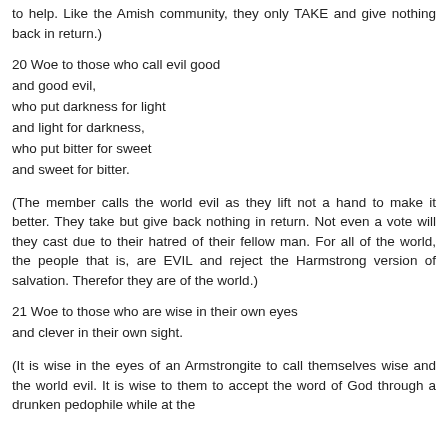to help. Like the Amish community, they only TAKE and give nothing back in return.)
20 Woe to those who call evil good
and good evil,
who put darkness for light
and light for darkness,
who put bitter for sweet
and sweet for bitter.
(The member calls the world evil as they lift not a hand to make it better. They take but give back nothing in return. Not even a vote will they cast due to their hatred of their fellow man. For all of the world, the people that is, are EVIL and reject the Harmstrong version of salvation. Therefore they are of the world.)
21 Woe to those who are wise in their own eyes
and clever in their own sight.
(It is wise in the eyes of an Armstrongite to call themselves wise and the world evil. It is wise to them to accept the word of God through a drunken pedophile while at the